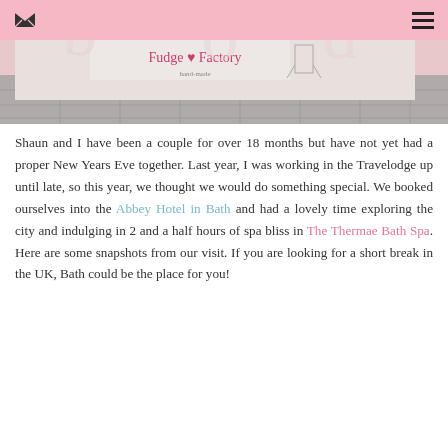[Figure (photo): Photo of a Fudge Factory storefront with decorative signage and outdoor seating area on paving stones]
Shaun and I have been a couple for over 18 months but have not yet had a proper New Years Eve together. Last year, I was working in the Travelodge up until late, so this year, we thought we would do something special. We booked ourselves into the Abbey Hotel in Bath and had a lovely time exploring the city and indulging in 2 and a half hours of spa bliss in The Thermae Bath Spa. Here are some snapshots from our visit. If you are looking for a short break in the UK, Bath could be the place for you!